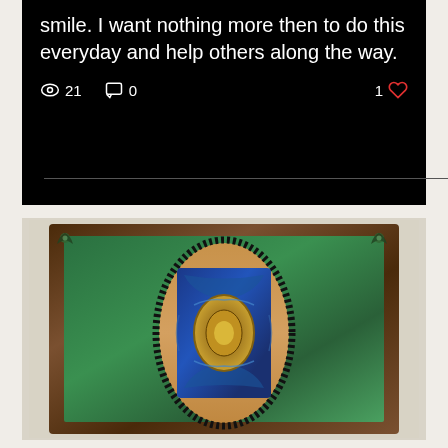smile. I want nothing more then to do this everyday and help others along the way.
👁 21   💬 0   1 ♥
[Figure (photo): A framed decorative artwork featuring an ornate wooden frame with carved corner ornaments, a green painted inner mat, and a central Persian-style illuminated manuscript or textile piece with blue and gold medallion pattern on a tan background, surrounded by black fringe.]